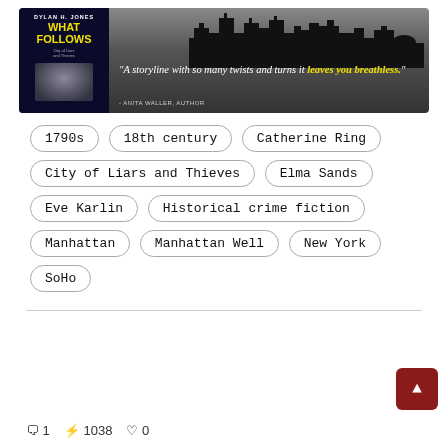[Figure (illustration): Book banner advertisement for 'What Follows' by Dylan H. Jones. Dark cityscape silhouette background. Book cover on left showing author name and title in yellow. Quote text: 'A storyline with so many twists and turns it leaves you breathless.' - Anita Waller, Author]
1790s
18th century
Catherine Ring
City of Liars and Thieves
Elma Sands
Eve Karlin
Historical crime fiction
Manhattan
Manhattan Well
New York
SoHo
1  1038  0